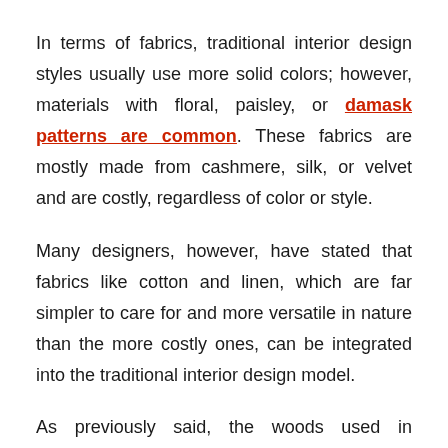In terms of fabrics, traditional interior design styles usually use more solid colors; however, materials with floral, paisley, or damask patterns are common. These fabrics are mostly made from cashmere, silk, or velvet and are costly, regardless of color or style.
Many designers, however, have stated that fabrics like cotton and linen, which are far simpler to care for and more versatile in nature than the more costly ones, can be integrated into the traditional interior design model.
As previously said, the woods used in traditional interior design are rich in color. Maple, mahogany, and cherry are the most common woods used in this style's furniture, and they're all lacquered and carved to give them a